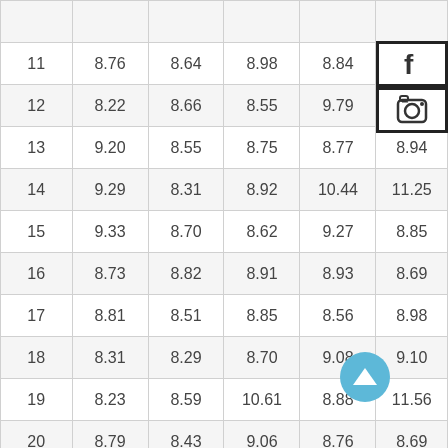| 11 | 8.76 | 8.64 | 8.98 | 8.84 | 10.23 |
| 12 | 8.22 | 8.66 | 8.55 | 9.79 | 9.41 |
| 13 | 9.20 | 8.55 | 8.75 | 8.77 | 8.94 |
| 14 | 9.29 | 8.31 | 8.92 | 10.44 | 11.25 |
| 15 | 9.33 | 8.70 | 8.62 | 9.27 | 8.85 |
| 16 | 8.73 | 8.82 | 8.91 | 8.93 | 8.69 |
| 17 | 8.81 | 8.51 | 8.85 | 8.56 | 8.98 |
| 18 | 8.31 | 8.29 | 8.70 | 9.08 | 9.10 |
| 19 | 8.23 | 8.59 | 10.61 | 8.88 | 11.56 |
| 20 | 8.79 | 8.43 | 9.06 | 8.76 | 8.69 |